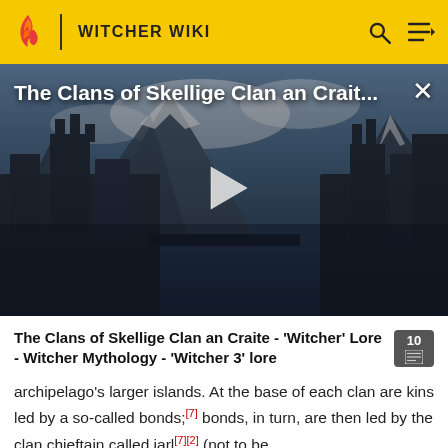WITCHER WIKI
[Figure (screenshot): Video thumbnail showing a dark fantasy castle on a cliff with snowy mountains. Title overlay reads 'The Clans of Skellige Clan an Crait...' with a play button in the center and an X close button.]
The Clans of Skellige Clan an Craite - 'Witcher' Lore - Witcher Mythology - 'Witcher 3' lore
archipelago's larger islands. At the base of each clan are kins led by a so-called bonds;[7] bonds, in turn, are then led by the clan chieftain called jarl[7][2] (not to be